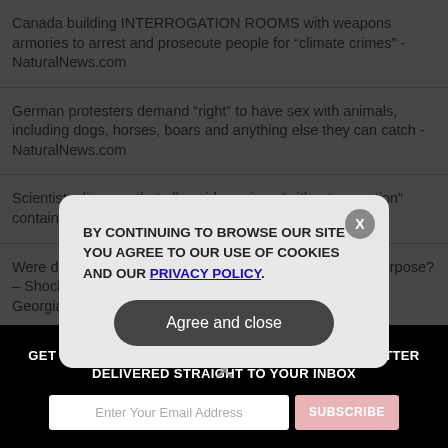Canada building INTERROGATION ROOMS with weapons armories to arrest and prosecute people for “climate crimes” - NaturalNews.com
German protesters demand “right” to have sex with animals, including dogs, horses, boars and anything else they can catch - NaturalNews.com
Scientists discover that all covid vaccines “without exception” contain mysterious metallic toxins - NaturalNews.com
Were deadly covid vaccine lots shipped to red states on purpose? – Shocking 196% excess mortality recorded in Florida and Georgia in third quarter of 2021 - NaturalNews.com
Breaking: Americans in Ukraine must "leave immediately" warns US State Department – Russian retaliation for car bombing assassination now imminent
GET THE WORLD'S BEST NATURAL HEALTH NEWSLETTER DELIVERED STRAIGHT TO YOUR INBOX
BY CONTINUING TO BROWSE OUR SITE YOU AGREE TO OUR USE OF COOKIES AND OUR PRIVACY POLICY.
Agree and close